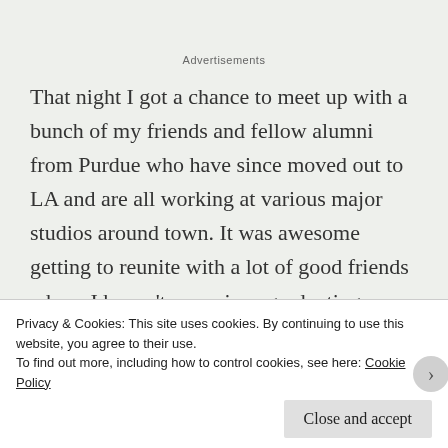Advertisements
That night I got a chance to meet up with a bunch of my friends and fellow alumni from Purdue who have since moved out to LA and are all working at various major studios around town. It was awesome getting to reunite with a lot of good friends whom I haven't seen since graduating college back in 2012! It's also awesome to see that so many of my friends have gone on to do work on
Privacy & Cookies: This site uses cookies. By continuing to use this website, you agree to their use.
To find out more, including how to control cookies, see here: Cookie Policy
Close and accept